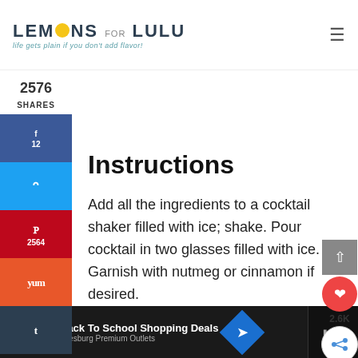LEMONS FOR LULU — life gets plain if you don't add flavor!
2576 SHARES
Instructions
Add all the ingredients to a cocktail shaker filled with ice; shake. Pour cocktail in two glasses filled with ice. Garnish with nutmeg or cinnamon if desired.
[Figure (screenshot): Ad bar: Back To School Shopping Deals — Leesburg Premium Outlets]